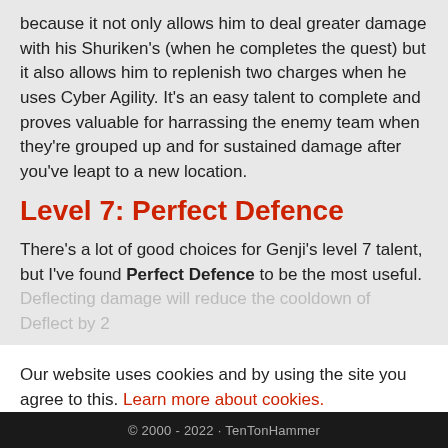because it not only allows him to deal greater damage with his Shuriken's (when he completes the quest) but it also allows him to replenish two charges when he uses Cyber Agility. It's an easy talent to complete and proves valuable for harrassing the enemy team when they're grouped up and for sustained damage after you've leapt to a new location.
Level 7: Perfect Defence
There's a lot of good choices for Genji's level 7 talent, but I've found Perfect Defence to be the most useful. Deflecting damage will reduce the cooldown of Deflect by 2
Our website uses cookies and by using the site you agree to this. Learn more about cookies.
Close
© 2000 - 2022 · TenTonHammer